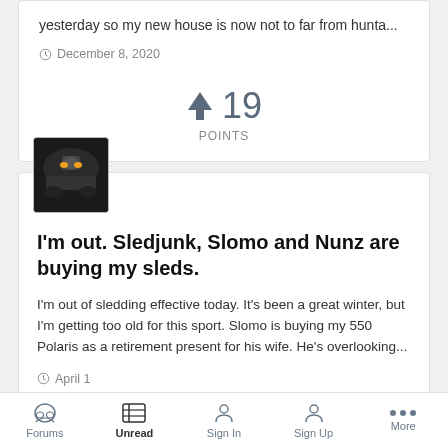yesterday so my new house is now not to far from hunta...
December 8, 2020
↑ 19 POINTS
[Figure (photo): Avatar image of a snowmobile]
I'm out. Sledjunk, Slomo and Nunz are buying my sleds.
I'm out of sledding effective today. It's been a great winter, but I'm getting too old for this sport. Slomo is buying my 550 Polaris as a retirement present for his wife. He's overlooking...
April 1
Forums  Unread  Sign In  Sign Up  More